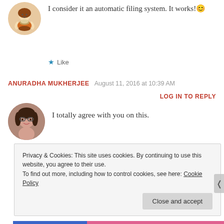I consider it an automatic filing system. It works! 😊
★ Like
ANURADHA MUKHERJEE  August 11, 2016 at 10:39 AM
LOG IN TO REPLY
I totally agree with you on this.
★ Liked by 1 person
Privacy & Cookies: This site uses cookies. By continuing to use this website, you agree to their use. To find out more, including how to control cookies, see here: Cookie Policy
Close and accept